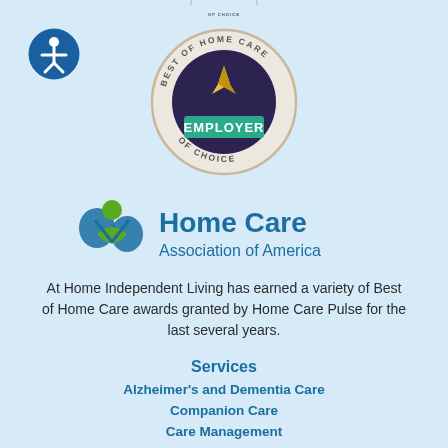[Figure (logo): Accessibility icon - circular blue icon with person figure]
[Figure (logo): Best of Home Care Employer of Choice badge/seal - circular badge with dark purple center, gold trophy icon, and teal banner reading EMPLOYER, text BEST OF HOME CARE around top and OF CHOICE around bottom]
[Figure (logo): Home Care Association of America logo - three stylized figures in blue and green with text Home Care Association of America]
At Home Independent Living has earned a variety of Best of Home Care awards granted by Home Care Pulse for the last several years.
Services
Alzheimer's and Dementia Care
Companion Care
Care Management
Electronic Caregiver
Homemaking Care
Supplemental / Respite Care